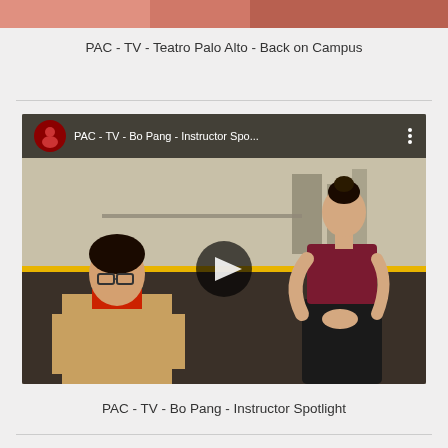[Figure (photo): Partial top strip of a video thumbnail showing a reddish/pink toned image at the very top of the page]
PAC - TV - Teatro Palo Alto - Back on Campus
[Figure (screenshot): YouTube video thumbnail showing two women in a dance studio. Left person wears a tan blazer over red top, right person wears a dark burgundy camisole and black skirt. Video title overlay reads 'PAC - TV - Bo Pang - Instructor Spo...' with a play button in the center.]
PAC - TV - Bo Pang - Instructor Spotlight